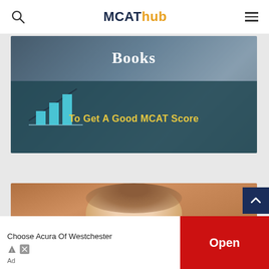MCATHub
[Figure (photo): Study/books banner with teal bar chart graphic overlay. White text 'Books' at top, yellow text 'To Get A Good MCAT Score' below, on dark teal semi-transparent overlay. Background shows person at laptop.]
[Figure (photo): Smiling woman in front of wooden background. Partially visible yellow text 'The Newest' on dark teal overlay at bottom.]
Choose Acura Of Westchester
Open
Ad